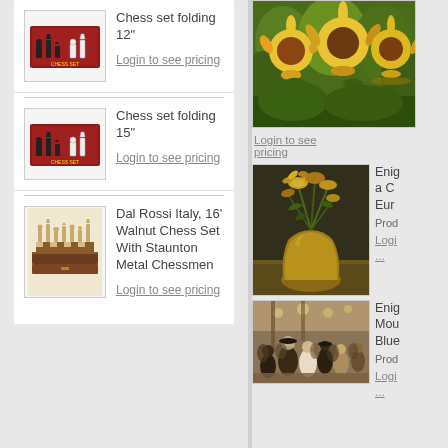[Figure (photo): Chess set folding 12 inch product image]
Chess set folding 12"
Login to see pricing
[Figure (photo): Chess set folding 15 inch product image]
Chess set folding 15"
Login to see pricing
[Figure (photo): Dal Rossi Italy 16 Walnut Chess Set product image]
Dal Rossi Italy, 16' Walnut Chess Set With Staunton Metal Chessmen
Login to see pricing
[Figure (photo): Sunflowers painting art print]
Login to see pricing
[Figure (photo): Enigma vase with flowers painting - European art]
Enig... a C... Eur...
Prod...
Login to see pricing
[Figure (photo): Crowd scene painting - Moulin de la Galette style]
Enig... Mou... Blue...
Prod...
Login to see pricing